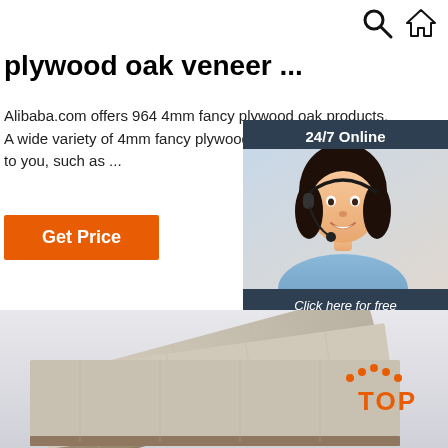Search icon, Home icon
plywood oak veneer ...
Alibaba.com offers 964 4mm fancy plywood oak products. A wide variety of 4mm fancy plywood options are available to you, such as ...
Get Price
[Figure (photo): Chat widget overlay with '24/7 Online' header, photo of smiling woman with headset, 'Click here for free chat!' text and QUOTATION button]
[Figure (photo): Stack of plywood oak veneer boards shown from below, with TOP label in orange in the bottom right corner]